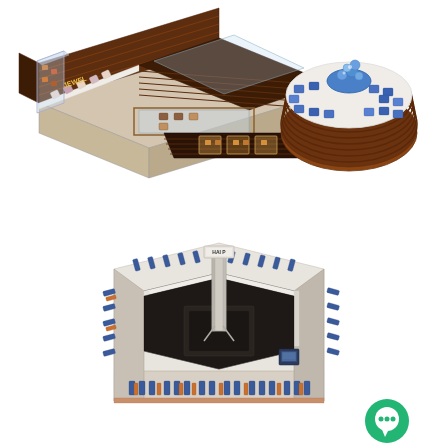[Figure (illustration): 3D rendering of a jewelry retail kiosk with dark brown wood finish, white display counters, blue gemstone displays on a circular pedestal on the right, illuminated glass display cases, and a monitor screen. Viewed from an isometric perspective.]
[Figure (illustration): 3D rendering of a large square/octagonal retail kiosk with white and copper/rose-gold finish, surrounded by product bottles/items along the perimeter display shelves, a tall vertical signage tower in the center, and a small tablet/monitor. A green chat bubble icon is visible in the lower right corner. Viewed from an isometric perspective.]